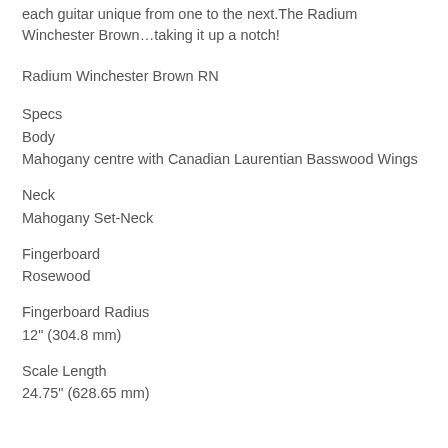each guitar unique from one to the next.The Radium Winchester Brown…taking it up a notch!
Radium Winchester Brown RN
Specs
Body
Mahogany centre with Canadian Laurentian Basswood Wings
Neck
Mahogany Set-Neck
Fingerboard
Rosewood
Fingerboard Radius
12" (304.8 mm)
Scale Length
24.75" (628.65 mm)